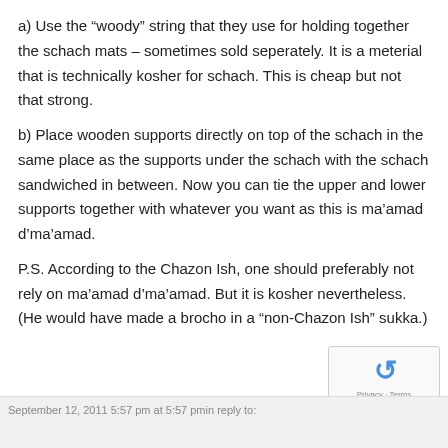a) Use the “woody” string that they use for holding together the schach mats – sometimes sold seperately. It is a meterial that is technically kosher for schach. This is cheap but not that strong.
b) Place wooden supports directly on top of the schach in the same place as the supports under the schach with the schach sandwiched in between. Now you can tie the upper and lower supports together with whatever you want as this is ma’amad d’ma’amad.
P.S. According to the Chazon Ish, one should preferably not rely on ma’amad d’ma’amad. But it is kosher nevertheless. (He would have made a brocho in a “non-Chazon Ish” sukka.)
September 12, 2011 5:57 pm at 5:57 pmin reply to: